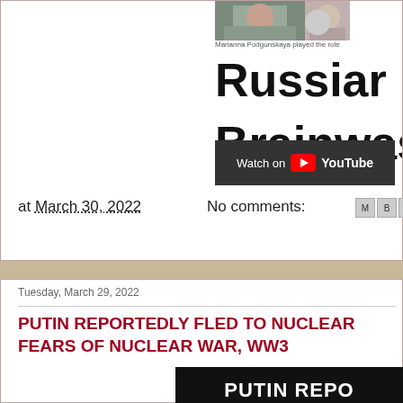[Figure (screenshot): Partially visible image of a person at top of page]
Marianna Podgunskaya played the role
Russian Brainwash
[Figure (screenshot): YouTube Watch on button overlay]
at March 30, 2022   No comments:
Tuesday, March 29, 2022
PUTIN REPORTEDLY FLED TO NUCLEAR FEARS OF NUCLEAR WAR, WW3
[Figure (screenshot): Black banner with white bold text: PUTIN REPO...]